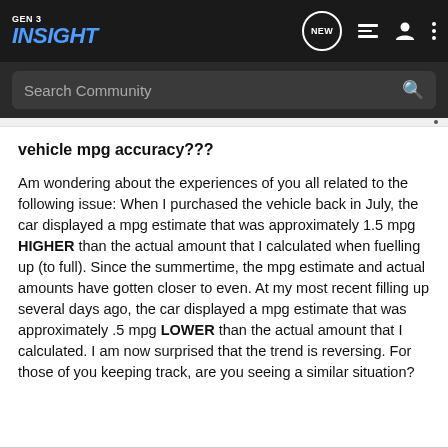GEN 3 INSIGHT — navigation bar with NEW, list, person, and menu icons
Search Community
vehicle mpg accuracy???
Am wondering about the experiences of you all related to the following issue: When I purchased the vehicle back in July, the car displayed a mpg estimate that was approximately 1.5 mpg HIGHER than the actual amount that I calculated when fuelling up (to full). Since the summertime, the mpg estimate and actual amounts have gotten closer to even. At my most recent filling up several days ago, the car displayed a mpg estimate that was approximately .5 mpg LOWER than the actual amount that I calculated. I am now surprised that the trend is reversing. For those of you keeping track, are you seeing a similar situation?